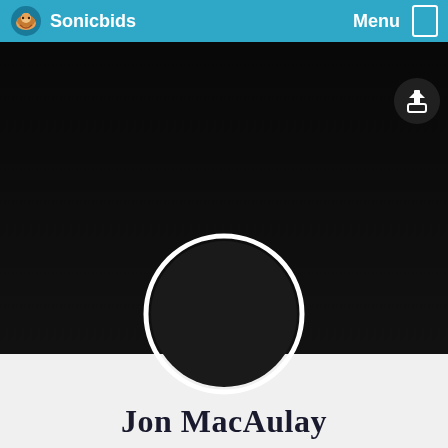Sonicbids  Menu
[Figure (screenshot): Dark hero banner background image, nearly black]
[Figure (illustration): White circular avatar placeholder ring overlapping hero and profile sections]
Jon MacAulay